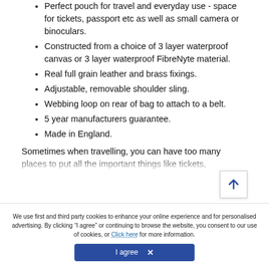Perfect pouch for travel and everyday use - space for tickets, passport etc as well as small camera or binoculars.
Constructed from a choice of 3 layer waterproof canvas or 3 layer waterproof FibreNyte material.
Real full grain leather and brass fixings.
Adjustable, removable shoulder sling.
Webbing loop on rear of bag to attach to a belt.
5 year manufacturers guarantee.
Made in England.
Sometimes when travelling, you can have too many places to put all the important things like tickets, passports, boarding passes, etc...
We use first and third party cookies to enhance your online experience and for personalised advertising. By clicking “I agree” or continuing to browse the website, you consent to our use of cookies, or Click here for more information.
I agree